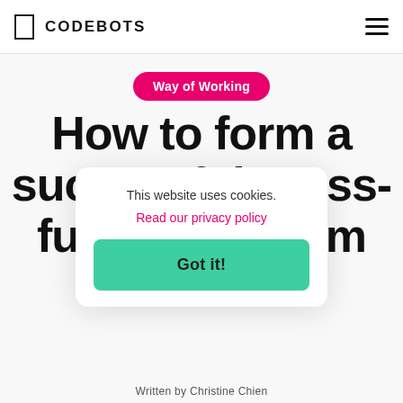CODEBOTS
Way of Working
How to form a successful cross-functional team
This website uses cookies.
Read our privacy policy
Got it!
Written by Christine Chien